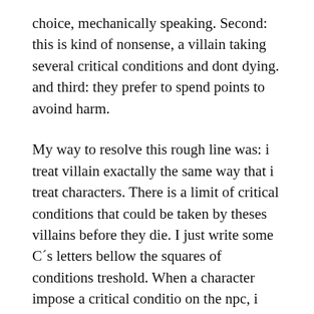choice, mechanically speaking. Second: this is kind of nonsense, a villain taking several critical conditions and dont dying. and third: they prefer to spend points to avoind harm.
My way to resolve this rough line was: i treat villain exactally the same way that i treat characters. There is a limit of critical conditions that could be taken by theses villains before they die. I just write some C´s letters bellow the squares of conditions treshold. When a character impose a critical conditio on the npc, i mark the square and circled the c above this square. If you marked all C´s you just already kill the npc´s character.